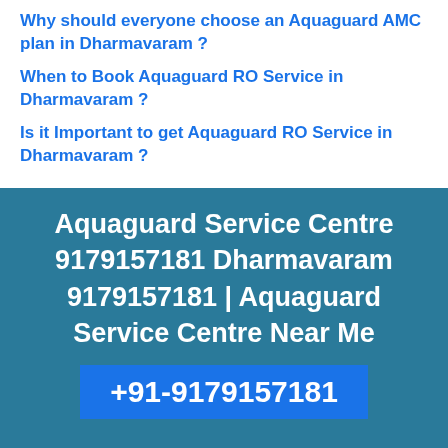Why should everyone choose an Aquaguard AMC plan in Dharmavaram ?
When to Book Aquaguard RO Service in Dharmavaram ?
Is it Important to get Aquaguard RO Service in Dharmavaram ?
Aquaguard Service Centre 9179157181 Dharmavaram 9179157181 | Aquaguard Service Centre Near Me
+91-9179157181
Terms & Disclaimer:
This Service Center in is an independent Service centre. This Service Centre in is Largest & Fastest Growing